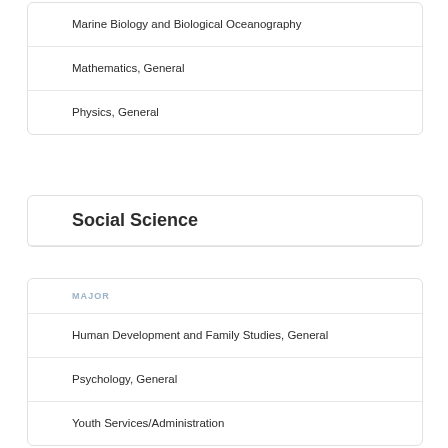Marine Biology and Biological Oceanography
Mathematics, General
Physics, General
Social Science
MAJOR
Human Development and Family Studies, General
Psychology, General
Youth Services/Administration